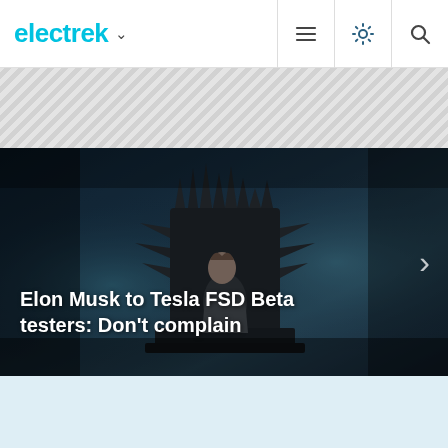electrek
[Figure (screenshot): Electrek website screenshot showing the navigation bar with electrek logo, hamburger menu icon, brightness icon, and search icon. Below the nav is a diagonal striped banner area, followed by a hero image showing a person sitting on a throne of metal (iron throne style) in a dark moody scene. The hero image headline reads: Elon Musk to Tesla FSD Beta testers: Don't complain. A right-arrow chevron is visible on the right side of the hero image for carousel navigation.]